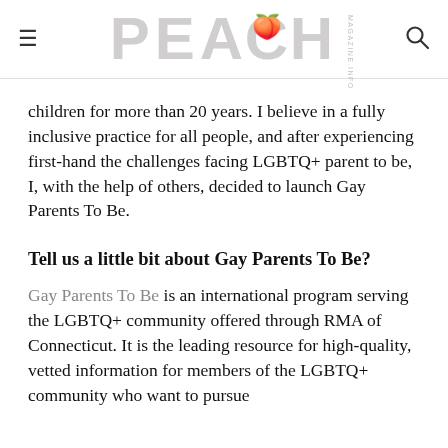PEACH
children for more than 20 years. I believe in a fully inclusive practice for all people, and after experiencing first-hand the challenges facing LGBTQ+ parent to be, I, with the help of others, decided to launch Gay Parents To Be.
Tell us a little bit about Gay Parents To Be?
Gay Parents To Be is an international program serving the LGBTQ+ community offered through RMA of Connecticut. It is the leading resource for high-quality, vetted information for members of the LGBTQ+ community who want to pursue